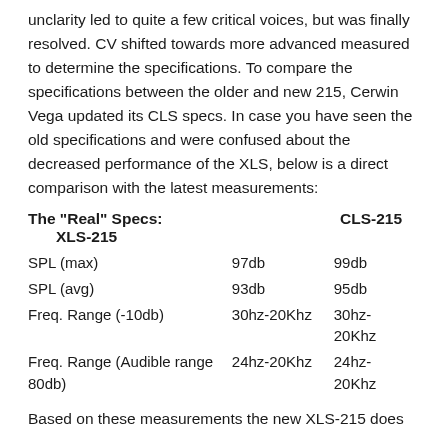unclarity led to quite a few critical voices, but was finally resolved. CV shifted towards more advanced measured to determine the specifications. To compare the specifications between the older and new 215, Cerwin Vega updated its CLS specs. In case you have seen the old specifications and were confused about the decreased performance of the XLS, below is a direct comparison with the latest measurements:
| The “Real” Specs: | XLS-215 | CLS-215 |
| --- | --- | --- |
| SPL (max) | 97db | 99db |
| SPL (avg) | 93db | 95db |
| Freq. Range (-10db) | 30hz-20Khz | 30hz-20Khz |
| Freq. Range (Audible range 80db) | 24hz-20Khz | 24hz-20Khz |
Based on these measurements the new XLS-215 does...